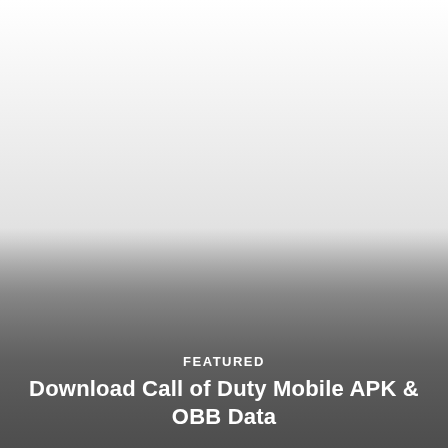[Figure (photo): A photo or screenshot with a white upper portion fading through a gray gradient to a dark gray lower section, appearing to be a background image for a featured article card.]
FEATURED
Download Call of Duty Mobile APK & OBB Data